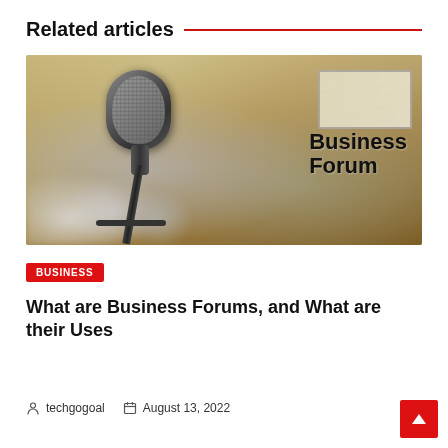Related articles
[Figure (photo): Business Forum image with a microphone in the foreground and blurry conference audience in the background. Text overlay reads 'Business Forum'.]
BUSINESS
What are Business Forums, and What are their Uses
techgogoal   August 13, 2022